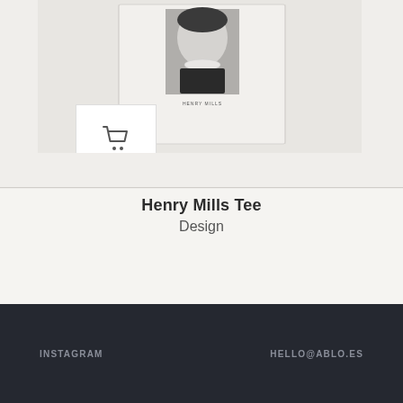[Figure (photo): Product photograph of Henry Mills Tee shirt displayed on white background, with small portrait graphic printed on it. A cart-icon thumbnail appears in bottom-left of image area.]
Henry Mills Tee
Design
INSTAGRAM    HELLO@ABLO.ES